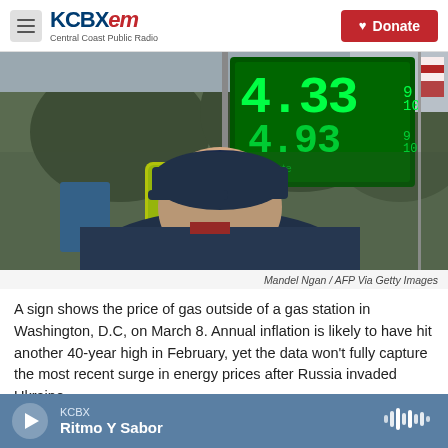KCBX em Central Coast Public Radio | Donate
[Figure (photo): A man wearing a dark baseball cap and jacket stands in front of a green digital gas price sign showing 4.33 and 4.93 for ultimate, at a gas station. Trees and an American flag are visible in the background.]
Mandel Ngan / AFP Via Getty Images
A sign shows the price of gas outside of a gas station in Washington, D.C, on March 8. Annual inflation is likely to have hit another 40-year high in February, yet the data won't fully capture the most recent surge in energy prices after Russia invaded Ukraine.
KCBX — Ritmo Y Sabor